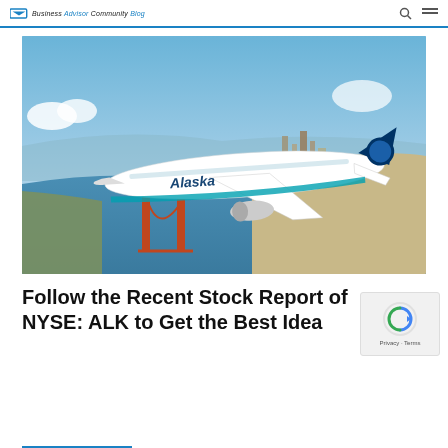Business Advisor Community Blog
[Figure (photo): Alaska Airlines Boeing 737 aircraft in flight over the San Francisco Bay area with the Golden Gate Bridge visible below and the city skyline in the background]
Follow the Recent Stock Report of NYSE: ALK to Get the Best Idea